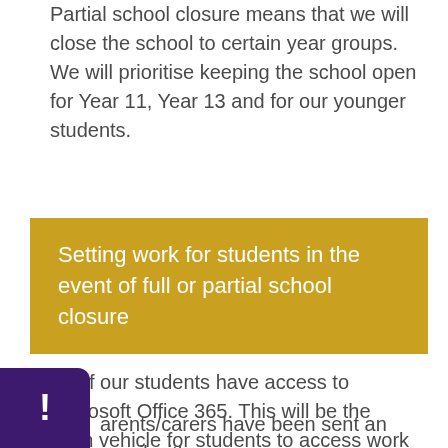Partial school closure means that we will close the school to certain year groups. We will prioritise keeping the school open for Year 11, Year 13 and for our younger students.
Setting work for students in the event of full or partial school closure
All of our students have access to Microsoft Office 365. This will be the main vehicle for students to access work should we need to fully or partially close the school.
arents/carers have been sent an email with